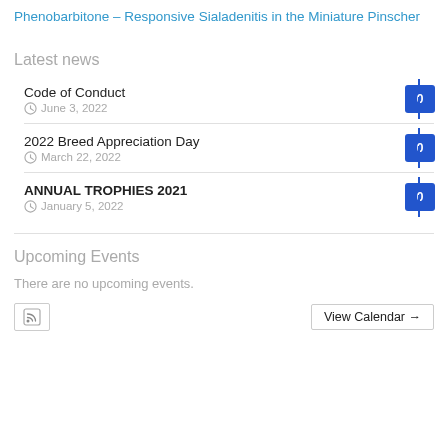Phenobarbitone – Responsive Sialadenitis in the Miniature Pinscher
Latest news
Code of Conduct
June 3, 2022
0
2022 Breed Appreciation Day
March 22, 2022
0
ANNUAL TROPHIES 2021
January 5, 2022
0
Upcoming Events
There are no upcoming events.